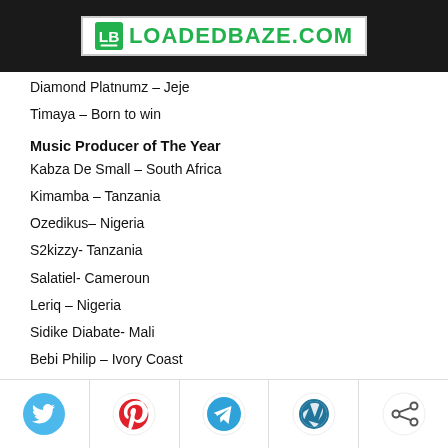LOADEDBAZE.COM
Diamond Platnumz – Jeje
Timaya – Born to win
Music Producer of The Year
Kabza De Small – South Africa
Kimamba – Tanzania
Ozedikus– Nigeria
S2kizzy- Tanzania
Salatiel- Cameroun
Leriq – Nigeria
Sidike Diabate- Mali
Bebi Philip – Ivory Coast
Kuame Eugene – Ghana
DjMaphoriza – South Africa
Social share icons: Twitter, Pinterest, Telegram, WordPress, Share